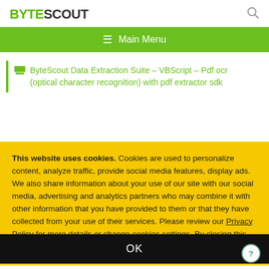BYTESCOUT
ByteScout Data Extraction Suite – VBScript – Pdf ocr (optical character recognition) with pdf extractor sdk
This website uses cookies. Cookies are used to personalize content, analyze traffic, provide social media features, display ads. We also share information about your use of our site with our social media, advertising and analytics partners who may combine it with other information that you have provided to them or that they have collected from your use of their services. Please review our Privacy Policy for more details or change cookies settings. By closing this banner or by clicking a link or continuing to browse otherwise, you consent to our cookies.
OK